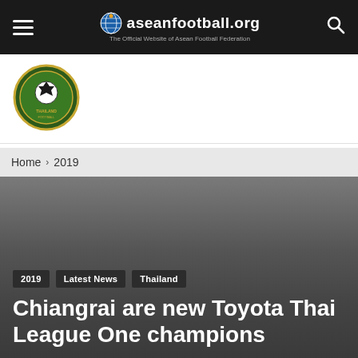aseanfootball.org — The Official Website of Asean Football Federation
[Figure (logo): Asean Football Federation club badge/emblem, circular green and gold design]
Home › 2019
[Figure (photo): Dark grey article hero image background]
2019   Latest News   Thailand
Chiangrai are new Toyota Thai League One champions